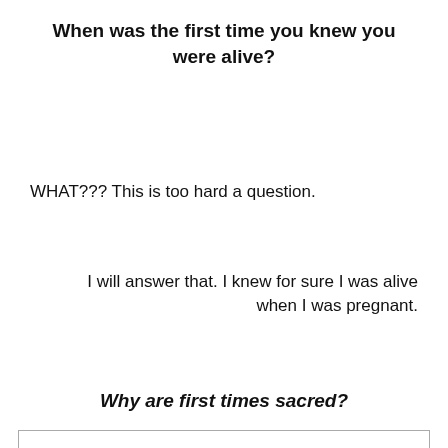When was the first time you knew you were alive?
WHAT??? This is too hard a question.
I will answer that. I knew for sure I was alive when I was pregnant.
Why are first times sacred?
Privacy & Cookies: This site uses cookies. By continuing to use this website, you agree to their use.
To find out more, including how to control cookies, see here: Cookie Policy
fall. And yet that is how we grow